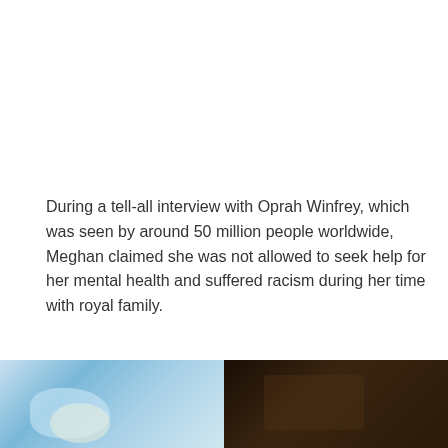During a tell-all interview with Oprah Winfrey, which was seen by around 50 million people worldwide, Meghan claimed she was not allowed to seek help for her mental health and suffered racism during her time with royal family.
[Figure (photo): Two side-by-side photos at the bottom of the page. Left photo shows a person in a blue floral outfit. Right photo shows a person in a dark setting.]